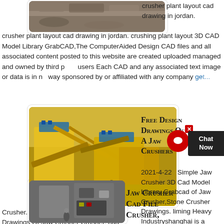[Figure (photo): Partial view of gravel/rock material at top of page]
crusher plant layout cad drawing in jordan. crusher plant layout cad drawing in jordan. crushing plant layout 3D CAD Model Library GrabCAD,The ComputerAided Design CAD files and all associated content posted to this website are created uploaded managed and owned by third party users Each CAD and any associated text image or data is in no way sponsored by or affiliated with any company
[Figure (photo): Large yellow jaw crusher plant machinery at a quarry/mining site]
Free Design Drawings Of A Jaw Crushers
2021-4-22   Simple Jaw Crusher 3D Cad Model Library Grabcad of Jaw Crusher,Stone Crusher Drawings. liming Heavy Industryshanghai is a global suppliers and manufacturers of crushing, grinding, jaw crusher design calculation Gold Ore Crusher. Cat Crushers. Engineering Drawings Of Jaw Crusher Crusher. cad drawing stone crusher stone iron ore mining
Jaw Crusher Cad File Crusher,
[Figure (photo): Industrial jaw crusher machinery with control panels]